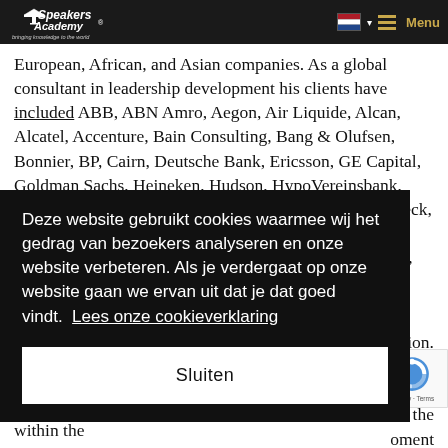Speakers Academy — bringing knowledge to the world
European, African, and Asian companies. As a global consultant in leadership development his clients have included ABB, ABN Amro, Aegon, Air Liquide, Alcan, Alcatel, Accenture, Bain Consulting, Bang & Olufsen, Bonnier, BP, Cairn, Deutsche Bank, Ericsson, GE Capital, Goldman Sachs, Heineken, Hudson, HypoVereinsbank, Investec, KPMG, Lego, Liberty Life, Lufthansa, Lundbeck, McKinsey, ATIC, National Australian Bank, Novartis, Nokia, NovoNordisk, Origin, Shell, SHV, SpencerStuart, SABMiller, ...oration.
...rty ...of the ...oment ...of ...d
Deze website gebruikt cookies waarmee wij het gedrag van bezoekers analyseren en onze website verbeteren. Als je verdergaat op onze website gaan we ervan uit dat je dat goed vindt.  Lees onze cookieverklaring
Sluiten
taiga, the Pamir and Altai Mountains, Arnhemland, or within the